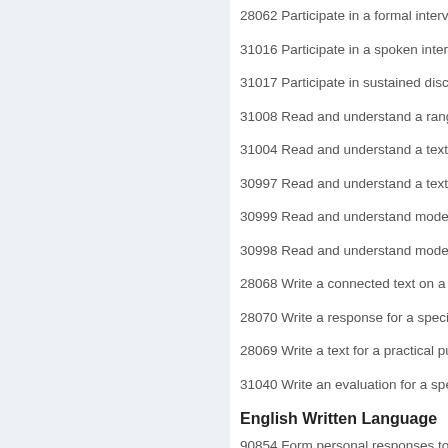28062 Participate in a formal interview
31016 Participate in a spoken interact
31017 Participate in sustained discuss
31008 Read and understand a range o
31004 Read and understand a text for
30997 Read and understand a text on
30999 Read and understand moderate
30998 Read and understand moderate
28068 Write a connected text on a fam
28070 Write a response for a specific
28069 Write a text for a practical purp
31040 Write an evaluation for a specif
English Written Language
90854 Form personal responses to inc